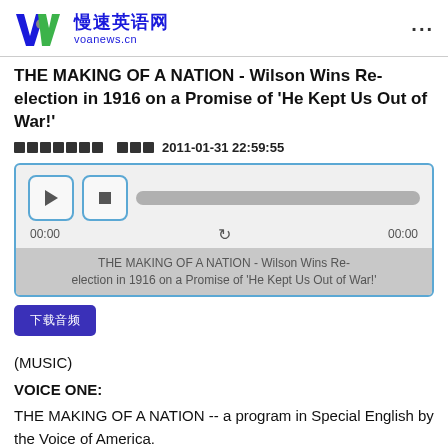慢速英语网 voanews.cn
THE MAKING OF A NATION - Wilson Wins Re-election in 1916 on a Promise of 'He Kept Us Out of War!'
发布时间 2011-01-31 22:59:55
[Figure (other): Audio player widget with play and stop buttons, progress bar, time display 00:00 and 00:00, and track title: THE MAKING OF A NATION - Wilson Wins Re-election in 1916 on a Promise of 'He Kept Us Out of War!']
下载音频
(MUSIC)
VOICE ONE:
THE MAKING OF A NATION -- a program in Special English by the Voice of America.